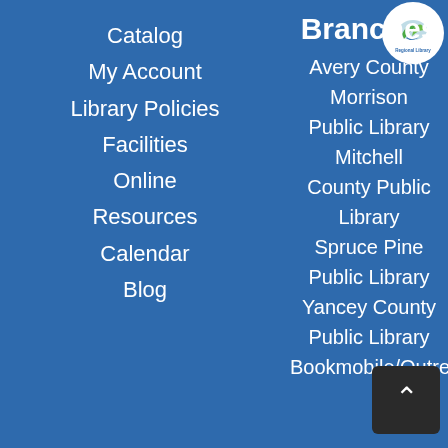Catalog
My Account
Library Policies
Facilities
Online Resources
Calendar
Blog
[Figure (logo): Regional Library circular logo with leaf/bird design]
Branches
Avery County
Morrison Public Library
Mitchell County Public Library
Spruce Pine Public Library
Yancey County Public Library
Bookmobile/Outreach